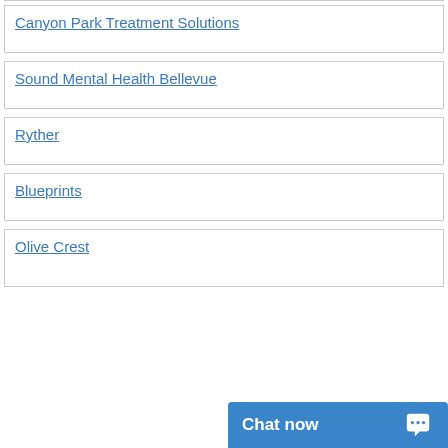Canyon Park Treatment Solutions
Sound Mental Health Bellevue
Ryther
Blueprints
Olive Crest